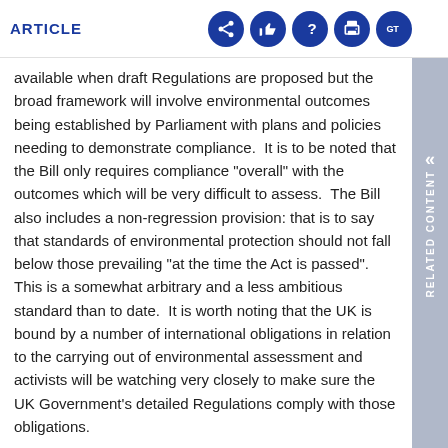ARTICLE
available when draft Regulations are proposed but the broad framework will involve environmental outcomes being established by Parliament with plans and policies needing to demonstrate compliance.  It is to be noted that the Bill only requires compliance "overall" with the outcomes which will be very difficult to assess.  The Bill also includes a non-regression provision: that is to say that standards of environmental protection should not fall below those prevailing "at the time the Act is passed". This is a somewhat arbitrary and a less ambitious standard than to date.  It is worth noting that the UK is bound by a number of international obligations in relation to the carrying out of environmental assessment and activists will be watching very closely to make sure the UK Government's detailed Regulations comply with those obligations.
New "enforcement warning notices"
The Bill introduces new environmental warning notices where a local planning authority identifies a planning